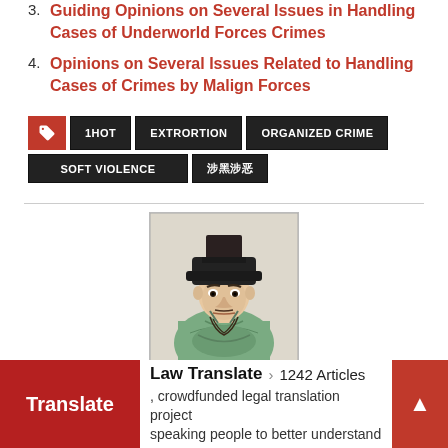3. Guiding Opinions on Several Issues in Handling Cases of Underworld Forces Crimes
4. Opinions on Several Issues Related to Handling Cases of Crimes by Malign Forces
Tags: 1HOT, EXTRORTION, ORGANIZED CRIME, SOFT VIOLENCE, 涉黑涉恶
[Figure (illustration): Traditional Chinese ink painting portrait of a stern-looking official in green robes and black hat]
Law Translate › 1242 Articles Translate , crowdfunded legal translation project speaking people to better understand